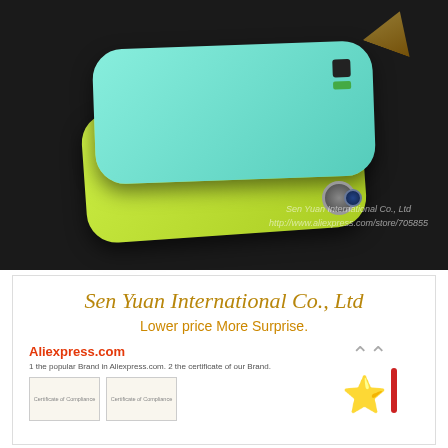[Figure (photo): Product photo of two colorful phone cases (teal/mint and yellow-green) stacked on a dark background, with a decorative object in the top right. Watermark reads: Sen Yuan International Co., Ltd and http://www.aliexpress.com/store/705855]
[Figure (photo): Brand card for Sen Yuan International Co., Ltd showing company name, tagline 'Lower price More Surprise.', Aliexpress.com branding, two Certificate of Compliance documents, and a gold star trophy award with a red award.]